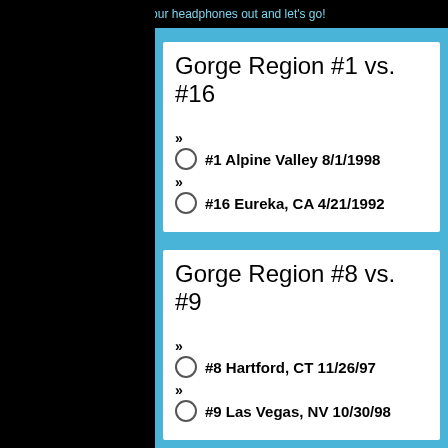Get your headphones out and let's go!
Gorge Region #1 vs. #16
#1 Alpine Valley 8/1/1998
#16 Eureka, CA 4/21/1992
Gorge Region #8 vs. #9
#8 Hartford, CT 11/26/97
#9 Las Vegas, NV 10/30/98
Gorge Region #5 vs. #12